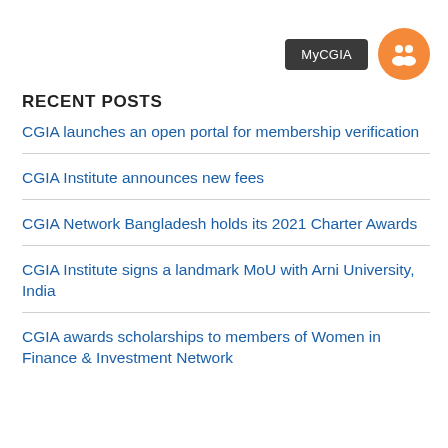[Figure (other): MyCGIA dark button and orange circle icon with people/group silhouette in top-right corner]
RECENT POSTS
CGIA launches an open portal for membership verification
CGIA Institute announces new fees
CGIA Network Bangladesh holds its 2021 Charter Awards
CGIA Institute signs a landmark MoU with Arni University, India
CGIA awards scholarships to members of Women in Finance & Investment Network